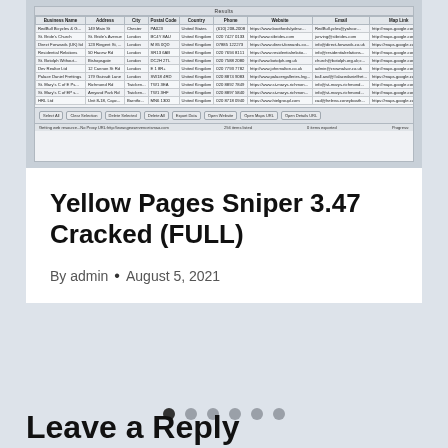[Figure (screenshot): Screenshot of Yellow Pages Sniper software showing a results table with business listings including Business Name, Address, City, Postal Code, Country, Phone, Website, Email, Map Link columns, with rows of UK and US business data, action buttons at the bottom (Select All, Clear Selection, Delete Selected, Delete All, Export Data, Open Website, Open Maps URL, Open Details URL), and a status bar.]
Yellow Pages Sniper 3.47 Cracked (FULL)
By admin • August 5, 2021
Leave a Reply